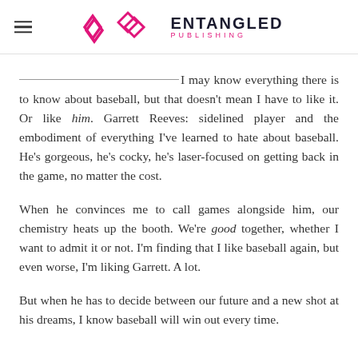Entangled Publishing
_____ I may know everything there is to know about baseball, but that doesn't mean I have to like it. Or like him. Garrett Reeves: sidelined player and the embodiment of everything I've learned to hate about baseball. He's gorgeous, he's cocky, he's laser-focused on getting back in the game, no matter the cost.
When he convinces me to call games alongside him, our chemistry heats up the booth. We're good together, whether I want to admit it or not. I'm finding that I like baseball again, but even worse, I'm liking Garrett. A lot.
But when he has to decide between our future and a new shot at his dreams, I know baseball will win out every time.